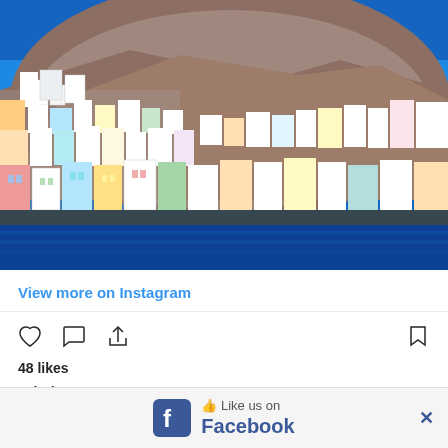[Figure (photo): Aerial/waterfront view of a densely built Greek island town (likely Syros or similar Cycladic island) with white and colorful buildings cascading down hillsides to the sea, under a bright blue sky with a large brown mountain/hill in the background.]
View more on Instagram
[Figure (infographic): Instagram action icons row: heart (like), speech bubble (comment), share/upload arrow icons on the left; bookmark icon on the right.]
48 likes
valeri.s.petrunov
[Figure (infographic): Facebook 'Like us on Facebook' banner advertisement at the bottom of the page, showing the Facebook logo icon, a thumbs-up Like icon, text 'Like us on Facebook' and an X close button.]